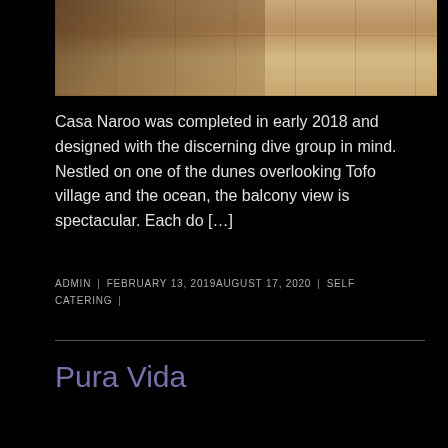[Figure (photo): Interior photo of dining area with wooden chairs and tiled floor, cropped at top of page]
Casa Naroo was completed in early 2018 and designed with the discerning dive group in mind. Nestled on one of the dunes overlooking Tofo village and the ocean, the balcony view is spectacular. Each do […]
ADMIN | FEBRUARY 13, 2019AUGUST 17, 2020 | SELF CATERING |
Pura Vida